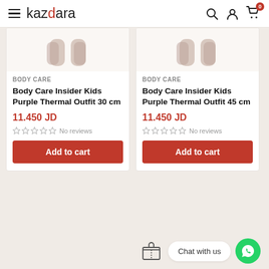kazdara — navigation header with hamburger menu, search, account, cart (0)
[Figure (photo): Product image for Body Care Insider Kids Purple Thermal Outfit 30 cm — partially visible clothing item thumbnails]
BODY CARE
Body Care Insider Kids Purple Thermal Outfit 30 cm
11.450 JD
No reviews
[Figure (photo): Product image for Body Care Insider Kids Purple Thermal Outfit 45 cm — partially visible clothing item thumbnails]
BODY CARE
Body Care Insider Kids Purple Thermal Outfit 45 cm
11.450 JD
No reviews
Chat with us